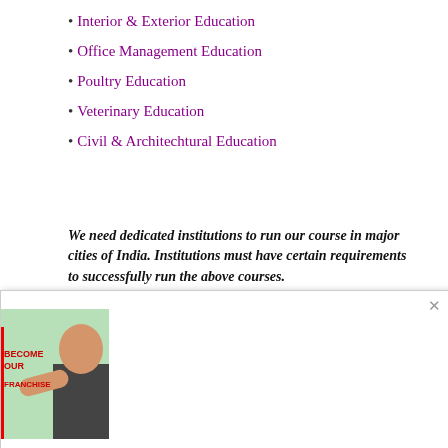Interior & Exterior Education
Office Management Education
Poultry Education
Veterinary Education
Civil & Architechtural Education
We need dedicated institutions to run our course in major cities of India. Institutions must have certain requirements to successfully run the above courses.
[Figure (photo): Franchise promotional image showing a person in business attire with text 'BECOME OUR FRANCHISE']
iting Express Of Interest From Institutions To Become anchise of BSS